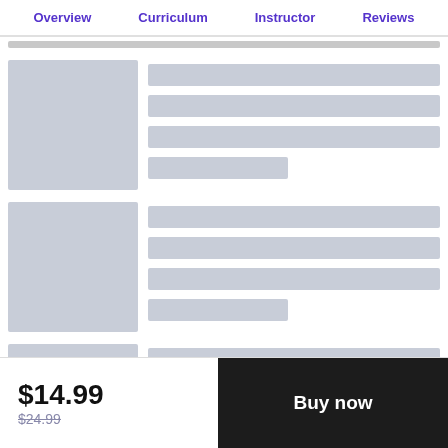Overview   Curriculum   Instructor   Reviews
[Figure (other): Skeleton loading placeholder card row 1 with thumbnail and text lines]
[Figure (other): Skeleton loading placeholder card row 2 with thumbnail and text lines]
[Figure (other): Skeleton loading placeholder card row 3 with thumbnail and text lines]
$14.99
$24.99
Buy now